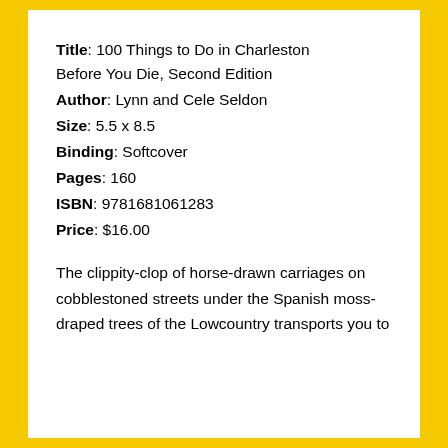Title: 100 Things to Do in Charleston Before You Die, Second Edition
Author: Lynn and Cele Seldon
Size: 5.5 x 8.5
Binding: Softcover
Pages: 160
ISBN: 9781681061283
Price: $16.00
The clippity-clop of horse-drawn carriages on cobblestoned streets under the Spanish moss-draped trees of the Lowcountry transports you to